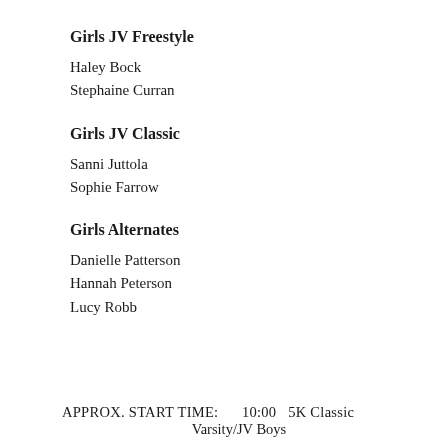Girls JV Freestyle
Haley Bock
Stephaine Curran
Girls JV Classic
Sanni Juttola
Sophie Farrow
Girls Alternates
Danielle Patterson
Hannah Peterson
Lucy Robb
APPROX. START TIME:      10:00   5K Classic
Varsity/JV Boys